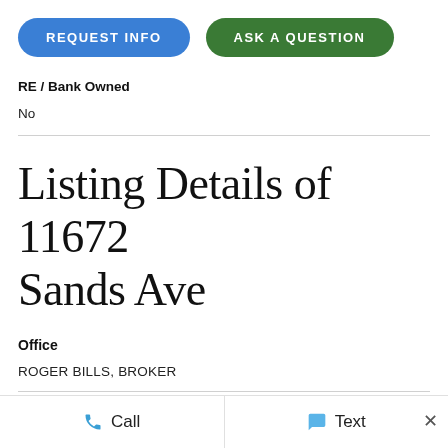[Figure (other): Two call-to-action buttons: 'REQUEST INFO' (blue, rounded) and 'ASK A QUESTION' (green, rounded)]
RE / Bank Owned
No
Listing Details of 11672 Sands Ave
Office
ROGER BILLS, BROKER
Call   Text   ×